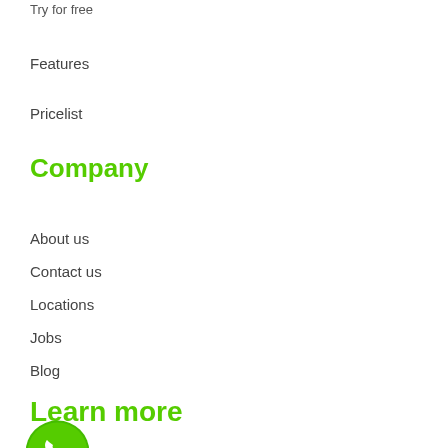Try for free
Features
Pricelist
Company
About us
Contact us
Locations
Jobs
Blog
Learn more
[Figure (logo): WhatsApp logo - green circle with white phone handset icon]
Testimonials